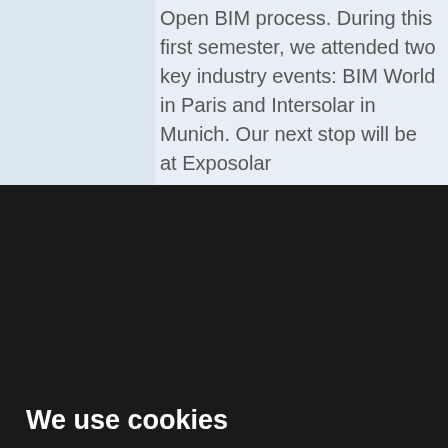Open BIM process. During this first semester, we attended two key industry events: BIM World in Paris and Intersolar in Munich. Our next stop will be at Exposolar
We use cookies
We use cookies and other tracking technologies to improve your browsing experience on our website, to show you personalized content and targeted ads, to analyze our website traffic, and to understand where our visitors are coming from.
I agree
Change my preferences